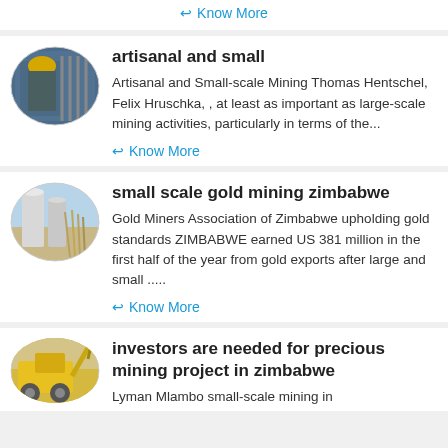↩ Know More
[Figure (photo): Oval/circular thumbnail of a person working with mining equipment]
artisanal and small
Artisanal and Small-scale Mining Thomas Hentschel, Felix Hruschka, , at least as important as large-scale mining activities, particularly in terms of the...
↩ Know More
[Figure (photo): Oval/circular thumbnail of large industrial silos or tanks outdoors]
small scale gold mining zimbabwe
Gold Miners Association of Zimbabwe upholding gold standards ZIMBABWE earned US 381 million in the first half of the year from gold exports after large and small .....
↩ Know More
[Figure (photo): Oval/circular thumbnail of yellow mining machinery or excavator]
investors are needed for precious mining project in zimbabwe
Lyman Mlambo small-scale mining in